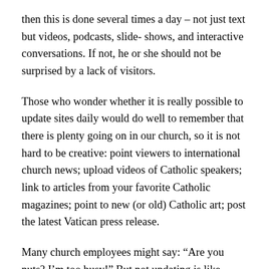then this is done several times a day – not just text but videos, podcasts, slide- shows, and interactive conversations. If not, he or she should not be surprised by a lack of visitors.
Those who wonder whether it is really possible to update sites daily would do well to remember that there is plenty going on in our church, so it is not hard to be creative: point viewers to international church news; upload videos of Catholic speakers; link to articles from your favorite Catholic magazines; point to new (or old) Catholic art; post the latest Vatican press release.
Many church employees might say: “Are you nuts? I’m too busy!” But not updating is like having a microphone in the parish that is not working. If church organizations do not maintain a fresh web-site or blog, fewer people – especially the young, who get their information digitally – are going to visit these sites and hear the church’s message, or even care if the church is speaking.